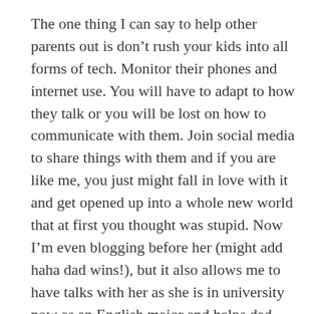The one thing I can say to help other parents out is don't rush your kids into all forms of tech. Monitor their phones and internet use. You will have to adapt to how they talk or you will be lost on how to communicate with them. Join social media to share things with them and if you are like me, you just might fall in love with it and get opened up into a whole new world that at first you thought was stupid. Now I'm even blogging before her (might add haha dad wins!), but it also allows me to have talks with her as she is in university now as an English major and helps dad out. I know when it comes to her depression and anxiety I have used tech to show her coping skills and social media to show her